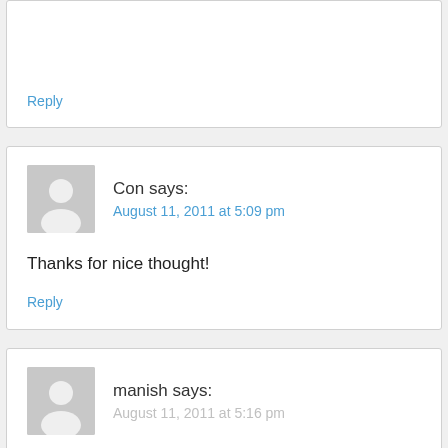Reply
Con says:
August 11, 2011 at 5:09 pm
Thanks for nice thought!
Reply
manish says:
August 11, 2011 at 5:16 pm